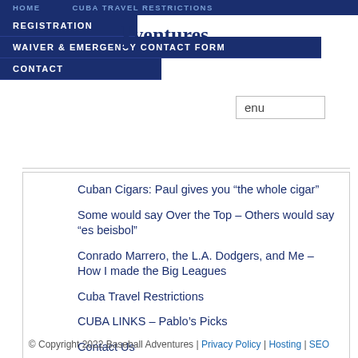HOME | CUBA TRAVEL RESTRICTIONS
REGISTRATION
ventures
WAIVER & EMERGENCY CONTACT FORM
enu
CONTACT
Cuban Cigars: Paul gives you “the whole cigar”
Some would say Over the Top – Others would say “es beisbol”
Conrado Marrero, the L.A. Dodgers, and Me – How I made the Big Leagues
Cuba Travel Restrictions
CUBA LINKS – Pablo’s Picks
Contact Us
© Copyright 2022 Baseball Adventures | Privacy Policy | Hosting | SEO